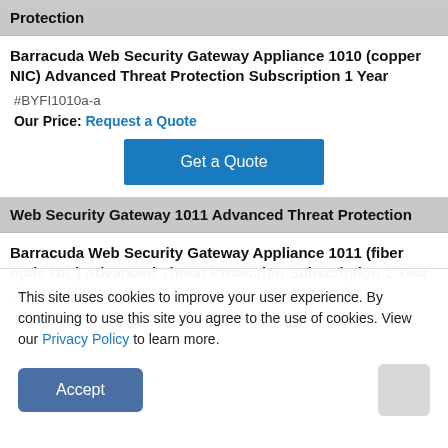Protection
Barracuda Web Security Gateway Appliance 1010 (copper NIC) Advanced Threat Protection Subscription 1 Year
#BYFI1010a-a
Our Price: Request a Quote
Get a Quote
Web Security Gateway 1011 Advanced Threat Protection
Barracuda Web Security Gateway Appliance 1011 (fiber optic NIC) Advanced Threat Protection Subscription 1 Year
#BYFI1011a-a
This site uses cookies to improve your user experience. By continuing to use this site you agree to the use of cookies. View our Privacy Policy to learn more.
Accept